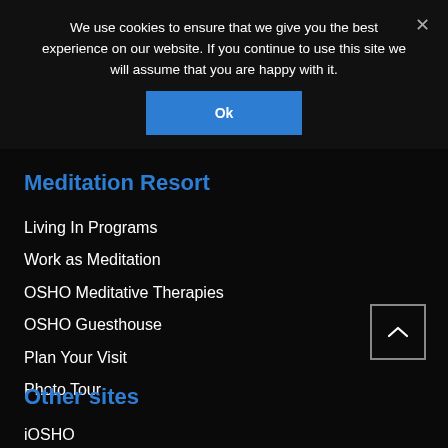We use cookies to ensure that we give you the best experience on our website. If you continue to use this site we will assume that you are happy with it.
Ok
Meditation Resort
Living In Programs
Work as Meditation
OSHO Meditative Therapies
OSHO Guesthouse
Plan Your Visit
Photo Tour
Other sites
iOSHO